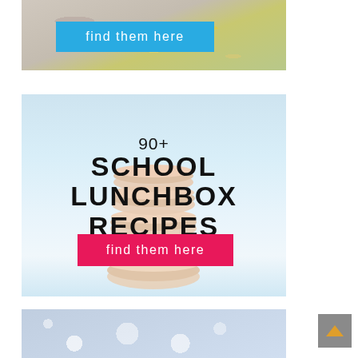[Figure (photo): Top portion of a food photo showing a plate with colorful grains, corn, and mixed ingredients. Blue button overlay with text 'find them here'.]
[Figure (photo): Stack of sandwich cookies (like vanilla wafers) on a light blue background. Overlaid text reads '90+ SCHOOL LUNCHBOX RECIPES' with a pink button 'find them here'.]
[Figure (photo): Bottom portion of another image showing a blurred bokeh background with light dots, partially visible at bottom of page.]